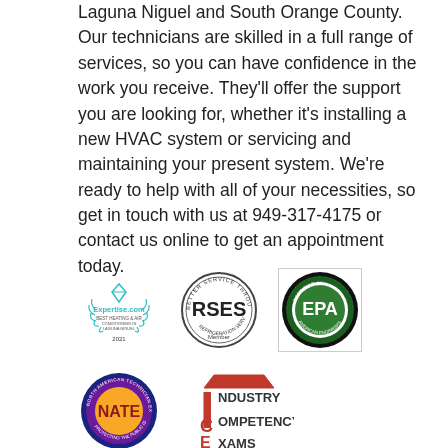Laguna Niguel and South Orange County. Our technicians are skilled in a full range of services, so you can have confidence in the work you receive. They'll offer the support you are looking for, whether it's installing a new HVAC system or servicing and maintaining your present system. We're ready to help with all of your necessities, so get in touch with us at 949-317-4175 or contact us online to get an appointment today.
[Figure (logo): Expertise.com award badge 2021]
[Figure (logo): RSES (Refrigeration Service Engineers Society) member badge]
[Figure (logo): EPA Certified by American Engineers badge]
[Figure (logo): NATE (North American Technician Excellence) badge]
[Figure (logo): ICE Industry Competency Exams badge]